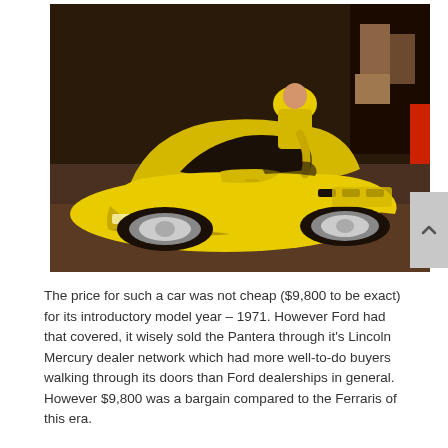[Figure (photo): A bright yellow De Tomaso Pantera sports car photographed at an event or show, with a person in a yellow jacket leaning over the open hood. The car is viewed from a three-quarter front angle, showing its low-slung body, black louvered hood vents, and alloy wheels. Other people and a red car are visible in the background.]
The price for such a car was not cheap ($9,800 to be exact) for its introductory model year – 1971. However Ford had that covered, it wisely sold the Pantera through it's Lincoln Mercury dealer network which had more well-to-do buyers walking through its doors than Ford dealerships in general. However $9,800 was a bargain compared to the Ferraris of this era.